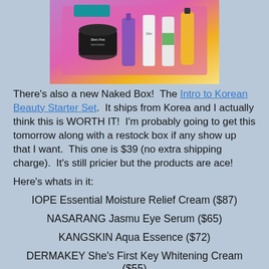[Figure (photo): Photo of multiple Korean beauty skincare products/bottles arranged together against a pink/colorful background]
There's also a new Naked Box!  The Intro to Korean Beauty Starter Set.  It ships from Korea and I actually think this is WORTH IT!  I'm probably going to get this tomorrow along with a restock box if any show up that I want.  This one is $39 (no extra shipping charge).  It's still pricier but the products are ace!
Here's whats in it:
IOPE Essential Moisture Relief Cream ($87)
NASARANG Jasmu Eye Serum ($65)
KANGSKIN Aqua Essence ($72)
DERMAKEY She's First Key Whitening Cream ($55)